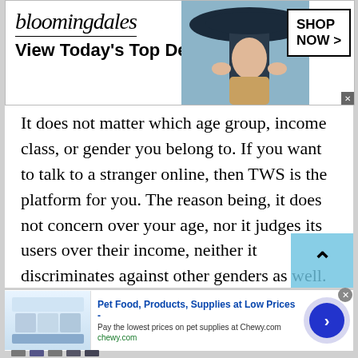[Figure (screenshot): Bloomingdale's advertisement banner with logo, 'View Today's Top Deals!' tagline, model wearing a wide-brim hat, and 'SHOP NOW >' button]
It does not matter which age group, income class, or gender you belong to. If you want to talk to a stranger online, then TWS is the platform for you. The reason being, it does not concern over your age, nor it judges its users over their income, neither it discriminates against other genders as well. It goes well with every person. If you are a teenager, it can help you make new friends in your neighborhood, if you are an adult and love to travel, then you can video chat with multiple people of Niger to gain
[Figure (screenshot): Chewy.com advertisement: 'Pet Food, Products, Supplies at Low Prices - Pay the lowest prices on pet supplies at Chewy.com, chewy.com' with product images and a circular blue call-to-action button with right arrow]